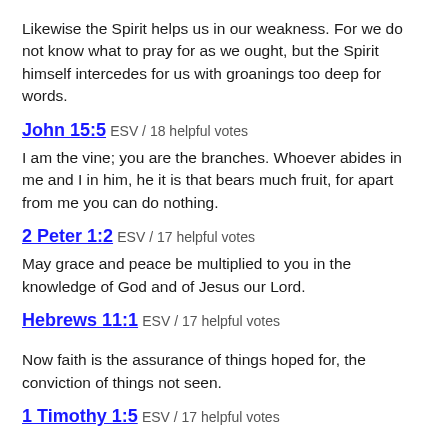Likewise the Spirit helps us in our weakness. For we do not know what to pray for as we ought, but the Spirit himself intercedes for us with groanings too deep for words.
John 15:5 ESV / 18 helpful votes
I am the vine; you are the branches. Whoever abides in me and I in him, he it is that bears much fruit, for apart from me you can do nothing.
2 Peter 1:2 ESV / 17 helpful votes
May grace and peace be multiplied to you in the knowledge of God and of Jesus our Lord.
Hebrews 11:1 ESV / 17 helpful votes
Now faith is the assurance of things hoped for, the conviction of things not seen.
1 Timothy 1:5 ESV / 17 helpful votes